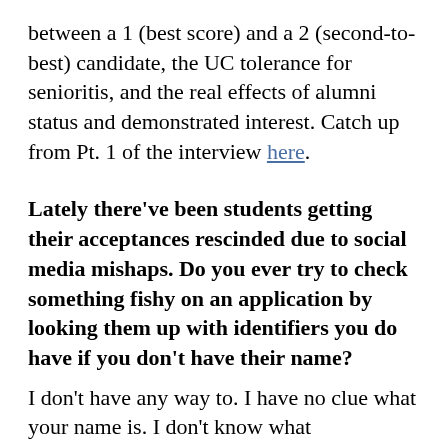between a 1 (best score) and a 2 (second-to-best) candidate, the UC tolerance for senioritis, and the real effects of alumni status and demonstrated interest. Catch up from Pt. 1 of the interview here.
Lately there've been students getting their acceptances rescinded due to social media mishaps. Do you ever try to check something fishy on an application by looking them up with identifiers you do have if you don't have their name?
I don't have any way to. I have no clue what your name is. I don't know what